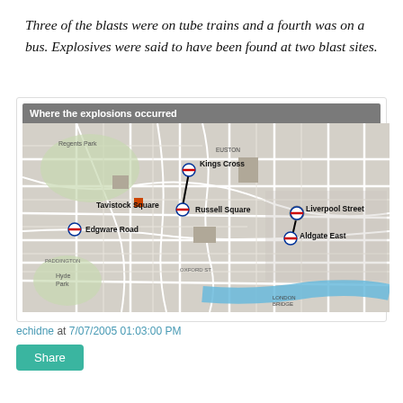Three of the blasts were on tube trains and a fourth was on a bus. Explosives were said to have been found at two blast sites.
[Figure (map): Map titled 'Where the explosions occurred' showing London streets with marked locations: Kings Cross, Russell Square, Tavistock Square, Edgware Road, Liverpool Street, and Aldgate East — all connected by lines indicating tube/bus blast sites.]
echidne at 7/07/2005 01:03:00 PM
Share